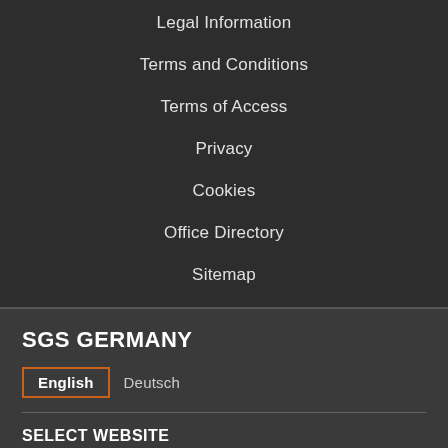Legal Information
Terms and Conditions
Terms of Access
Privacy
Cookies
Office Directory
Sitemap
SGS GERMANY
English   Deutsch
SELECT WEBSITE
Global   Japan